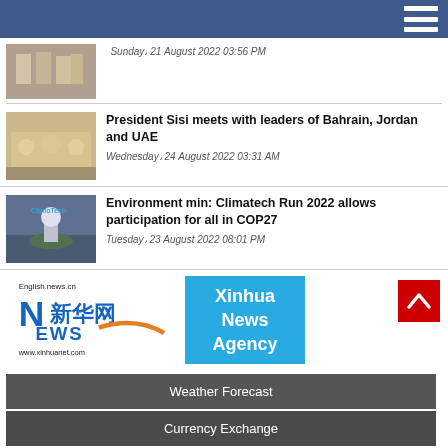[Figure (photo): News thumbnail: group photo with officials in traditional garments]
Sunday، 21 August 2022 03:56 PM
President Sisi meets with leaders of Bahrain, Jordan and UAE
[Figure (photo): News thumbnail: President Sisi meeting with Arab leaders with flags in background]
Wednesday، 24 August 2022 03:31 AM
Environment min: Climatech Run 2022 allows participation for all in COP27
[Figure (photo): News thumbnail: ClimoTech sign/logo at outdoor event]
Tuesday، 23 August 2022 08:01 PM
[Figure (logo): Xinhua News Agency logo with English.news.cn URL and www.xinhuanet.com]
Weather Forecast
Currency Exchange